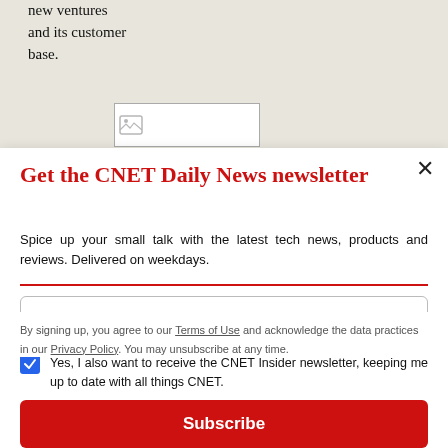new ventures and its customer base.
[Figure (screenshot): Broken image placeholder in article area]
Get the CNET Daily News newsletter
Spice up your small talk with the latest tech news, products and reviews. Delivered on weekdays.
Add your email
Yes, I also want to receive the CNET Insider newsletter, keeping me up to date with all things CNET.
Subscribe
By signing up, you agree to our Terms of Use and acknowledge the data practices in our Privacy Policy. You may unsubscribe at any time.